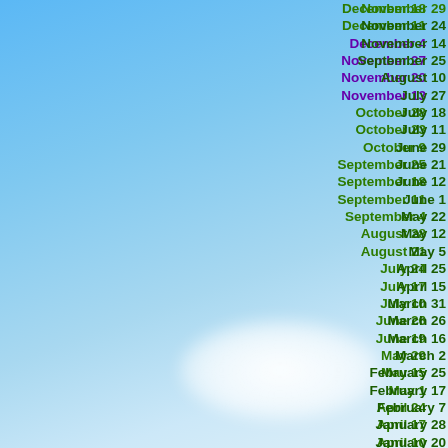December 18
December 11
December 4
November 27
November 20
November 13
October 28
October 23
October 9
September 25
September 18
September 11
September 4
August 28
August 21
July 24
July 17
July 10
June 26
June 19
May 29
May 15
May 1
April 24
April 17
April 10
March 13
November 29
November 24
November 14
September 25
August 10
July 27
July 18
July 11
June 29
June 21
June 12
June 1
May 22
May 12
May 5
April 25
April 15
March 31
March 26
March 16
March 2
February 25
February 17
February 7
January 28
January 20
January 7